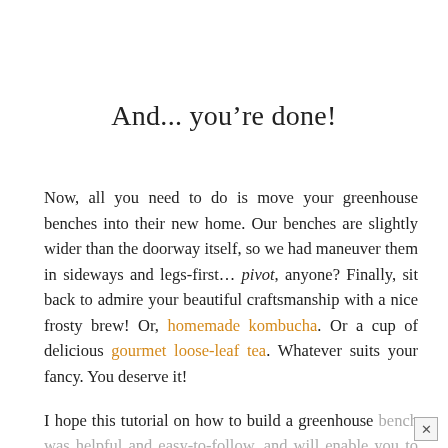And... you're done!
Now, all you need to do is move your greenhouse benches into their new home. Our benches are slightly wider than the doorway itself, so we had maneuver them in sideways and legs-first… pivot, anyone? Finally, sit back to admire your beautiful craftsmanship with a nice frosty brew! Or, homemade kombucha. Or a cup of delicious gourmet loose-leaf tea. Whatever suits your fancy. You deserve it!
I hope this tutorial on how to build a greenhouse bench was helpful and easy-to-follow, and will enable you to smoothly construct your very own kick-butt